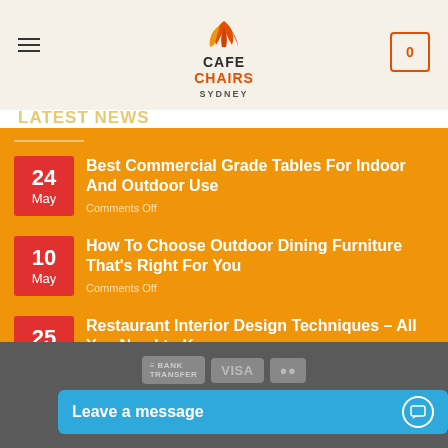Cafe Chairs Sydney — navigation header with logo and cart
LATEST NEWS
24 May — Best Commercial Grade Tables For Indoor And Outdoor Use — Comments Off
10 May — How To Choose Outdoor Dining Furniture That's Right For You — Comments Off
25 Apr — Restaurant Interior Design Techniques – All You Need to Know — Comments Off
Copyright — payment icons — Leave a message chat widget